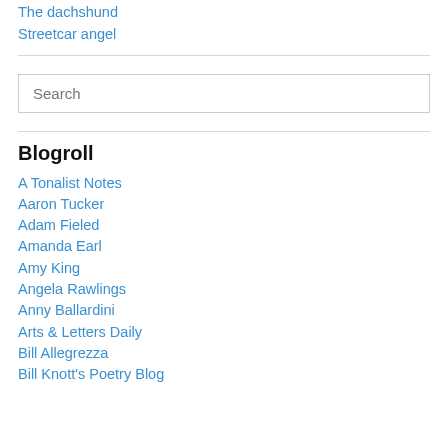The dachshund
Streetcar angel
Search
Blogroll
A Tonalist Notes
Aaron Tucker
Adam Fieled
Amanda Earl
Amy King
Angela Rawlings
Anny Ballardini
Arts & Letters Daily
Bill Allegrezza
Bill Knott's Poetry Blog